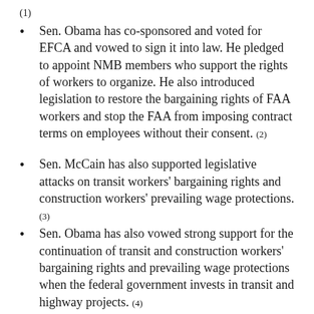(1)
Sen. Obama has co-sponsored and voted for EFCA and vowed to sign it into law. He pledged to appoint NMB members who support the rights of workers to organize. He also introduced legislation to restore the bargaining rights of FAA workers and stop the FAA from imposing contract terms on employees without their consent. (2)
Sen. McCain has also supported legislative attacks on transit workers' bargaining rights and construction workers' prevailing wage protections.(3)
Sen. Obama has also vowed strong support for the continuation of transit and construction workers' bargaining rights and prevailing wage protections when the federal government invests in transit and highway projects. (4)